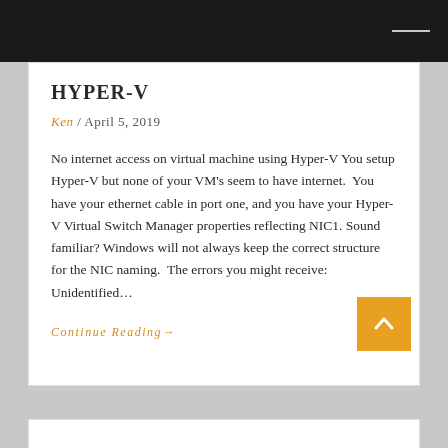HYPER-V
Ken / April 5, 2019
No internet access on virtual machine using Hyper-V You setup Hyper-V but none of your VM's seem to have internet.  You have your ethernet cable in port one, and you have your Hyper-V Virtual Switch Manager properties reflecting NIC1. Sound familiar? Windows will not always keep the correct structure for the NIC naming.  The errors you might receive: Unidentified…
Continue Reading→